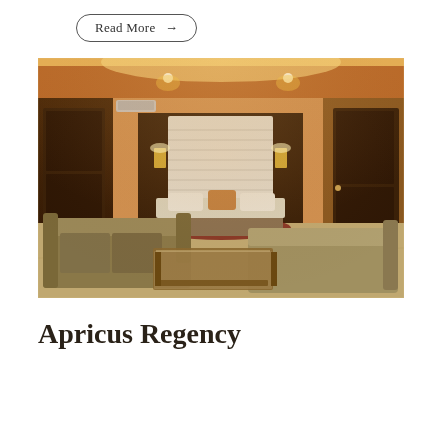Read More →
[Figure (photo): Interior photo of a hotel room with warm amber lighting, showing a large bed with white headboard, dark wood paneling, two sofas, a glass coffee table, and two doors.]
Apricus Regency